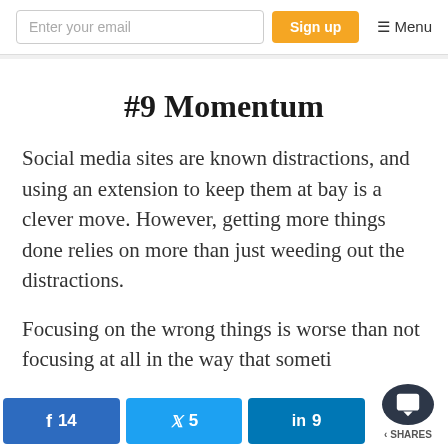Enter your email | Sign up | ☰ Menu
#9 Momentum
Social media sites are known distractions, and using an extension to keep them at bay is a clever move. However, getting more things done relies on more than just weeding out the distractions.
Focusing on the wrong things is worse than not focusing at all in the way that someti…
Facebook 14 | Twitter 5 | LinkedIn 9 | SHARES